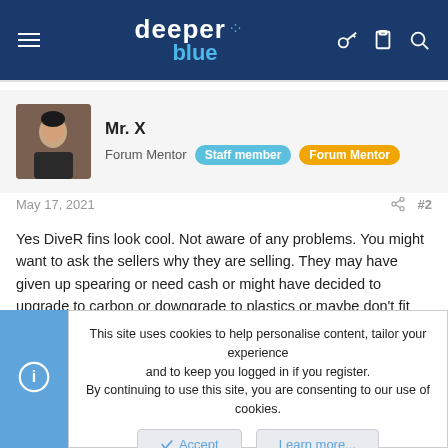deeper blue — site header navigation
[Figure (photo): Avatar photo of Mr. X, a man in diving gear]
Mr. X
Forum Mentor  Staff member  Forum Mentor
May 17, 2021  #2
Yes DiveR fins look cool. Not aware of any problems. You might want to ask the sellers why they are selling. They may have given up spearing or need cash or might have decided to upgrade to carbon or downgrade to plastics or maybe don't fit well. But, yes, they might be having problems with them or figured they have worn somehow, lost some spring perhaps?
This site uses cookies to help personalise content, tailor your experience and to keep you logged in if you register.
By continuing to use this site, you are consenting to our use of cookies.
[Accept]  [Learn more...]